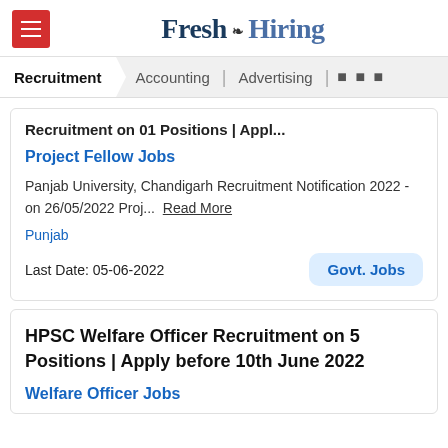Fresh Hiring
Recruitment  Accounting  Advertising  ...
Recruitment on 01 Positions | Appl...
Project Fellow Jobs
Panjab University, Chandigarh Recruitment Notification 2022 - on 26/05/2022 Proj...  Read More
Punjab
Last Date: 05-06-2022
HPSC Welfare Officer Recruitment on 5 Positions | Apply before 10th June 2022
Welfare Officer Jobs